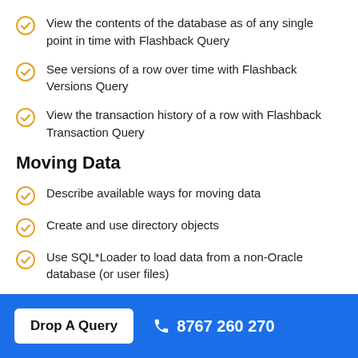View the contents of the database as of any single point in time with Flashback Query
See versions of a row over time with Flashback Versions Query
View the transaction history of a row with Flashback Transaction Query
Moving Data
Describe available ways for moving data
Create and use directory objects
Use SQL*Loader to load data from a non-Oracle database (or user files)
Explain the general architecture of Data Pump
Use Data Pump Export and Import to move data between Oracle databases
Drop A Query   8767 260 270